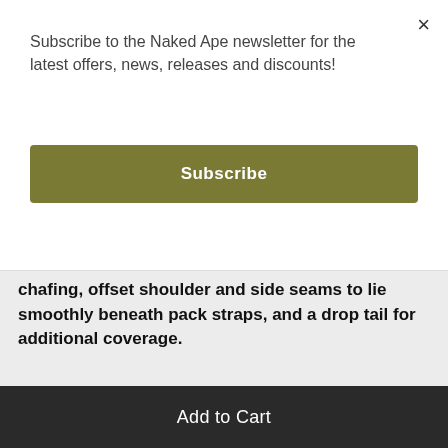Subscribe to the Naked Ape newsletter for the latest offers, news, releases and discounts!
Subscribe
chafing, offset shoulder and side seams to lie smoothly beneath pack straps, and a drop tail for additional coverage.
Sizes Wms tops:
L
1
Add to Cart